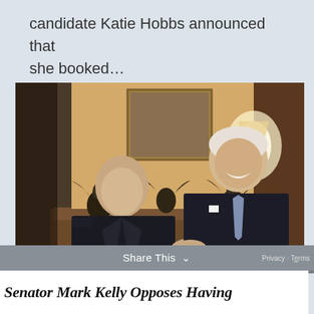candidate Katie Hobbs announced that she booked...
[Figure (photo): Two men shaking hands and smiling in an ornate room with dark wood paneling, fireplace mantle with eagle sculptures, and a framed painting on the wall. Left man is bald in a dark suit, right man is taller with white/silver hair wearing a dark suit with a patterned tie and pocket square.]
Share This
Privacy - Terms
Senator Mark Kelly Opposes Having